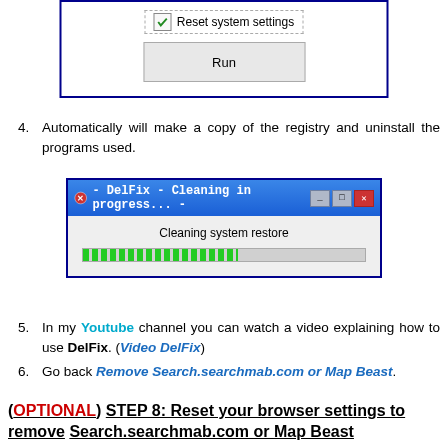[Figure (screenshot): Windows dialog showing 'Reset system settings' checkbox (checked) and a 'Run' button, with blue border]
4. Automatically will make a copy of the registry and uninstall the programs used.
[Figure (screenshot): DelFix - Cleaning in progress dialog with 'Cleaning system restore' text and a green progress bar]
5. In my Youtube channel you can watch a video explaining how to use DelFix. (Video DelFix)
6. Go back Remove Search.searchmab.com or Map Beast.
(OPTIONAL) STEP 8: Reset your browser settings to remove Search.searchmab.com or Map Beast